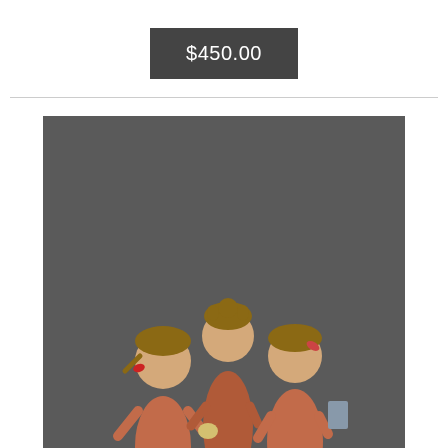$450.00
[Figure (photo): Vintage Hummel Goebel figurine of three school girls knitting, set on an oval base, photographed against a dark background.]
VINTAGE HUMMEL GOEBEL FIGURINES SCHOOL GIRLS KNITTING